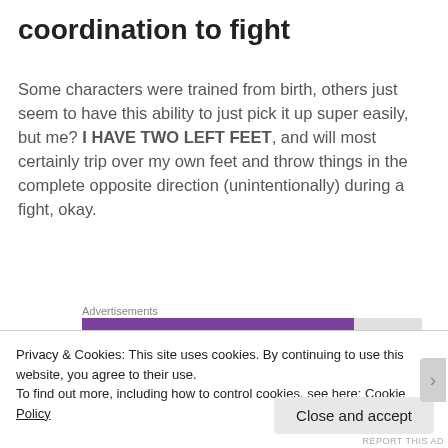coordination to fight
Some characters were trained from birth, others just seem to have this ability to just pick it up super easily, but me? I HAVE TWO LEFT FEET, and will most certainly trip over my own feet and throw things in the complete opposite direction (unintentionally) during a fight, okay.
Advertisements
[Figure (logo): WooCommerce purple banner advertisement]
Privacy & Cookies: This site uses cookies. By continuing to use this website, you agree to their use.
To find out more, including how to control cookies, see here: Cookie Policy